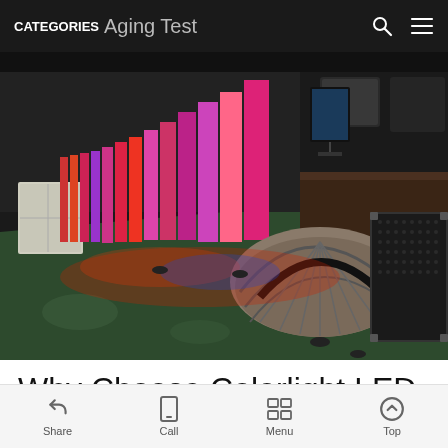CATEGORIES  Aging Test
[Figure (photo): Factory floor showing a row of LED display panels lit up in colorful colors (red, blue, pink, orange) being tested in an aging test area. A curved LED display is visible in the foreground, and various equipment cases are in the background.]
Why Choose Colorlight LED
Share  Call  Menu  Top